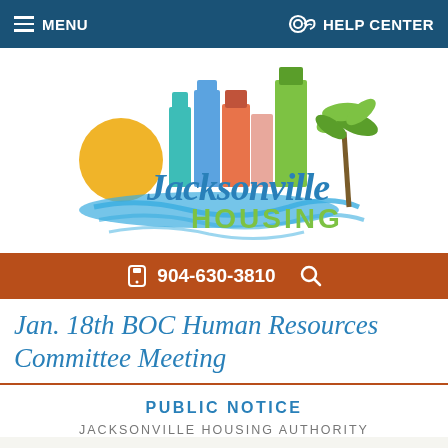MENU    HELP CENTER
[Figure (logo): Jacksonville Housing Authority logo with colorful city skyline, sun, palm tree, and water illustration with script text 'Jacksonville HOUSING']
904-630-3810
Jan. 18th BOC Human Resources Committee Meeting
PUBLIC NOTICE
JACKSONVILLE HOUSING AUTHORITY